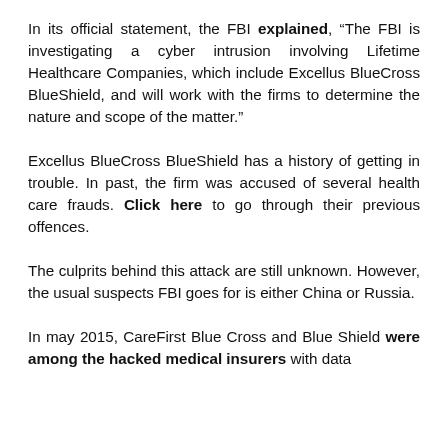In its official statement, the FBI explained, “The FBI is investigating a cyber intrusion involving Lifetime Healthcare Companies, which include Excellus BlueCross BlueShield, and will work with the firms to determine the nature and scope of the matter.”
Excellus BlueCross BlueShield has a history of getting in trouble. In past, the firm was accused of several health care frauds. Click here to go through their previous offences.
The culprits behind this attack are still unknown. However, the usual suspects FBI goes for is either China or Russia.
In may 2015, CareFirst Blue Cross and Blue Shield were among the hacked medical insurers with data